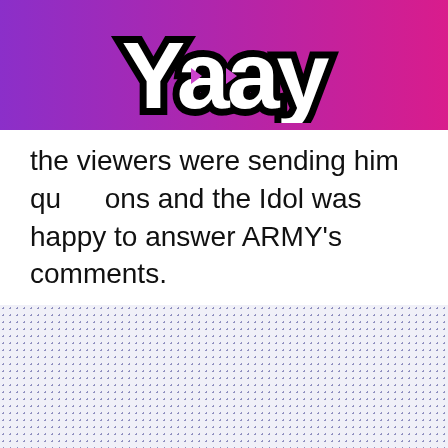[Figure (logo): Yaay logo with play button icons inside letters, white bold text with black stroke on purple-to-pink gradient banner]
the viewers were sending him questions and the Idol was happy to answer ARMY's comments.
[Figure (other): Dotted/halftone pattern area in light purple/lavender]